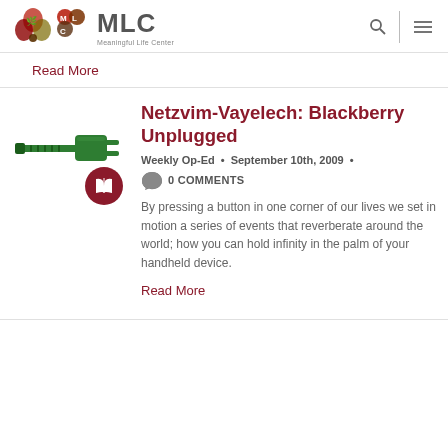MLC Meaningful Life Center
Read More
Netzvim-Vayelech: Blackberry Unplugged
Weekly Op-Ed • September 10th, 2009 • 0 COMMENTS
By pressing a button in one corner of our lives we set in motion a series of events that reverberate around the world; how you can hold infinity in the palm of your handheld device.
Read More